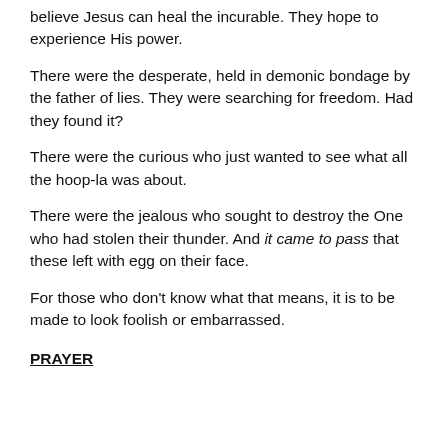believe Jesus can heal the incurable. They hope to experience His power.
There were the desperate, held in demonic bondage by the father of lies. They were searching for freedom. Had they found it?
There were the curious who just wanted to see what all the hoop-la was about.
There were the jealous who sought to destroy the One who had stolen their thunder. And it came to pass that these left with egg on their face.
For those who don't know what that means, it is to be made to look foolish or embarrassed.
PRAYER